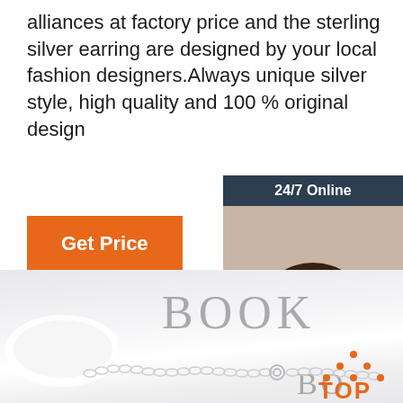alliances at factory price and the sterling silver earring are designed by your local fashion designers.Always unique silver style, high quality and 100 % original design
[Figure (illustration): Orange 'Get Price' button]
[Figure (infographic): 24/7 Online chat widget with woman wearing headset, 'Click here for free chat!' text, and orange QUOTATION button]
[Figure (photo): Product photo showing a silver chain/bracelet on a book background with 'BOOK' text visible, and a TOP logo in bottom right corner]